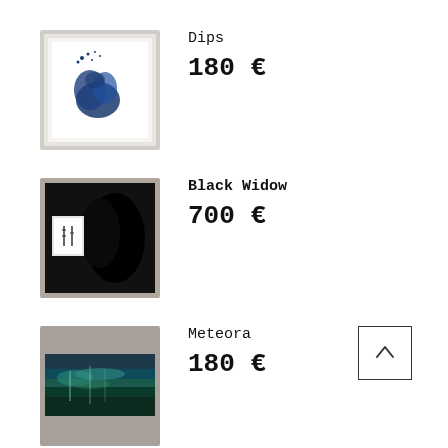[Figure (photo): Framed artwork 'Dips' — white frame with blue abstract ink shape and scattered dots on white background]
Dips
180 €
[Figure (photo): Framed artwork 'Black Widow' — black square canvas with bold black brushstroke shape and small white framed inset]
Black Widow
700 €
[Figure (photo): Artwork 'Meteora' — horizontal rectangular canvas with teal, green, and dark abstract landscape]
Meteora
180 €